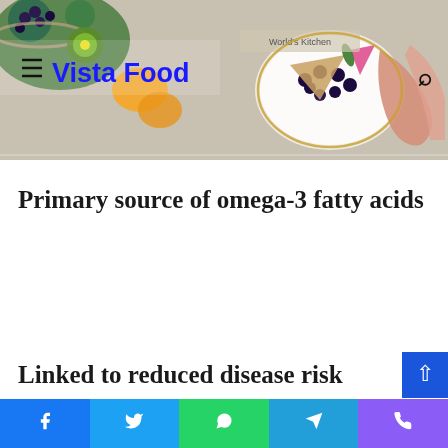Vista Food
[Figure (photo): Food header banner with colorful dishes including blueberries, fruits and a decorated plate held by a hand, overlaid with the Vista Food logo and navigation elements]
Primary source of omega-3 fatty acids
Linked to reduced disease risk